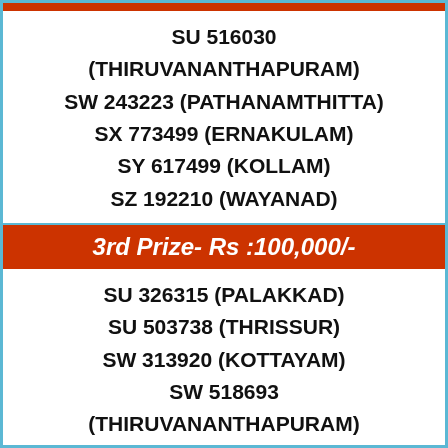SU 516030 (THIRUVANANTHAPURAM) SW 243223 (PATHANAMTHITTA) SX 773499 (ERNAKULAM) SY 617499 (KOLLAM) SZ 192210 (WAYANAD)
3rd Prize- Rs :100,000/-
SU 326315 (PALAKKAD) SU 503738 (THRISSUR) SW 313920 (KOTTAYAM) SW 518693 (THIRUVANANTHAPURAM) SX 484750 (ERNAKULAM)